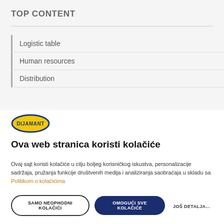TOP CONTENT
Logistic table
Human resources
Distribution
[Figure (logo): Dijamant brand logo — yellow oval with blue border and white DIJAMANT text]
Ova web stranica koristi kolačiće
Ovaj sajt koristi kolačiće u cilju boljeg korisničkog iskustva, personalizacije sadržaja, pružanja funkcije društvenih medija i analiziranja saobraćaja u skladu sa Politikom o kolačićima
SAMO NEOPHODNI KOLAČIĆI
OMOGUĆI SVE KOLAČIĆE
JOŠ DETALJA...